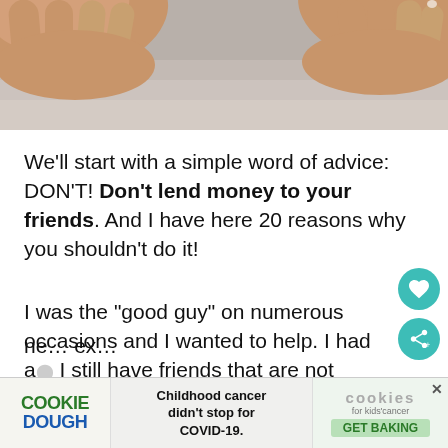[Figure (photo): Hands photographed from above against a gray background, appearing to cup or shelter something]
We’ll start with a simple word of advice: DON’T! Don’t lend money to your friends. And I have here 20 reasons why you shouldn’t do it!
I was the “good guy” on numerous occasions and I wanted to help. I had a… I still have friends that are not doing th… well financially and who happened to ne… ex…
[Figure (screenshot): Advertisement banner: Cookie Dough logo on left, text 'Childhood cancer didn’t stop for COVID-19.' in center, cookies for kids cancer logo with GET BAKING button on right]